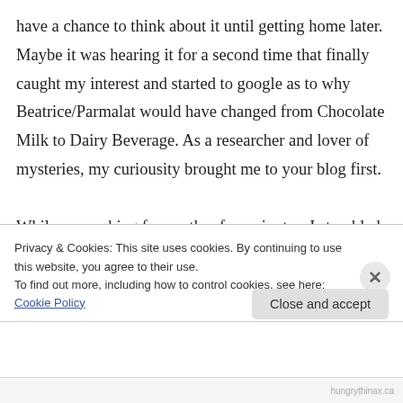have a chance to think about it until getting home later. Maybe it was hearing it for a second time that finally caught my interest and started to google as to why Beatrice/Parmalat would have changed from Chocolate Milk to Dairy Beverage. As a researcher and lover of mysteries, my curiousity brought me to your blog first.

While researching for another few minutes, I stumbled into the ingredients of this fascinating new beverage drink. It contains two key
Privacy & Cookies: This site uses cookies. By continuing to use this website, you agree to their use.
To find out more, including how to control cookies, see here: Cookie Policy
Close and accept
hungrythinax.ca